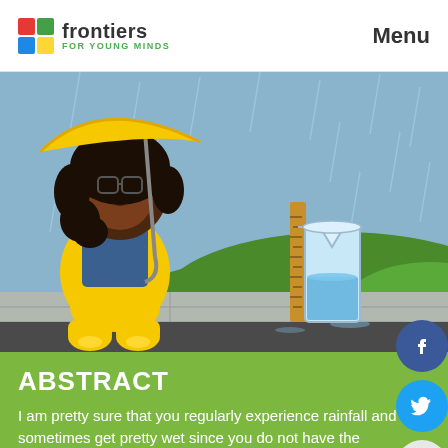frontiers FOR YOUNG MINDS | Menu
[Figure (illustration): Cartoon illustration of a dark-skinned girl wearing a yellow raincoat and boots, holding an umbrella in the rain. Beside her is a rain gauge (clear cylinder with ruler) sitting on a sidewalk. The background shows green hills and rain falling from a dark grey sky.]
ABSTRACT
I am pretty sure that you regularly experience rainfall and sometimes get pretty wet since you do not have the appropriate clothing! Rainfall is both a needed resource, since it fills rivers and